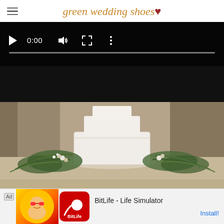green wedding shoes ♥
[Figure (screenshot): Video player with black background showing 0:00 timestamp, play button, volume icon, fullscreen icon, and more options icon with a progress bar below]
[Figure (photo): Close-up photo of a white tiered wedding cake decorated with greenery, ferns, berries, and small white flowers arranged around the base]
[Figure (screenshot): Advertisement banner for BitLife - Life Simulator app with red and yellow icon showing app name and Install button]